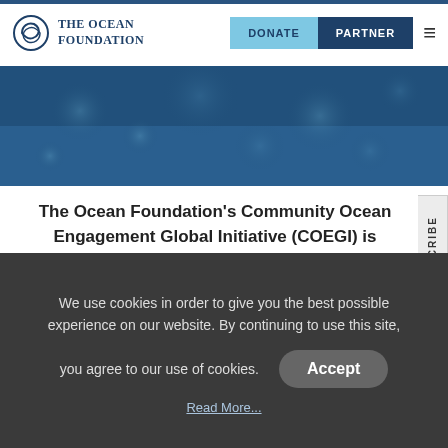The Ocean Foundation — DONATE | PARTNER
[Figure (photo): Dark blue ocean water hero banner image with light reflections/bubbles]
The Ocean Foundation's Community Ocean Engagement Global Initiative (COEGI) is dedicated to supporting the development of
We use cookies in order to give you the best possible experience on our website. By continuing to use this site, you agree to our use of cookies.
Accept
Read More...